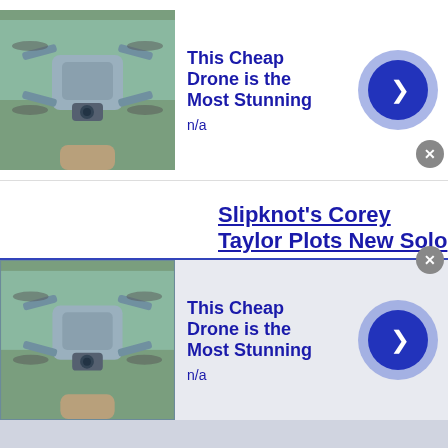[Figure (screenshot): Top ad banner with drone image, title 'This Cheap Drone is the Most Stunning', subtitle 'n/a', play button, and close button]
Slipknot's Corey Taylor Plots New Solo Album and Special Tour
Bauhaus Cancel North American
[Figure (screenshot): Bottom ad banner with drone image, title 'This Cheap Drone is the Most Stunning', subtitle 'n/a', play button, and close button]